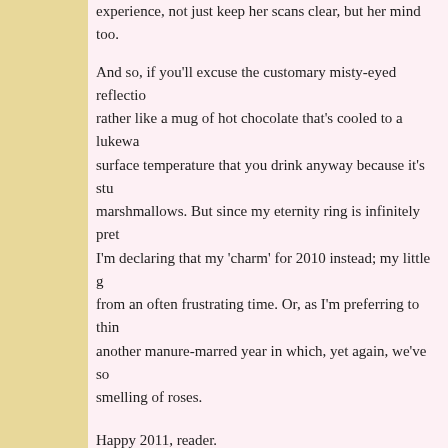experience, not just keep her scans clear, but her mind too.
And so, if you'll excuse the customary misty-eyed reflectio… rather like a mug of hot chocolate that's cooled to a lukewa… surface temperature that you drink anyway because it's stu… marshmallows. But since my eternity ring is infinitely pret… I'm declaring that my 'charm' for 2010 instead; my little g… from an often frustrating time. Or, as I'm preferring to thin… another manure-marred year in which, yet again, we've so… smelling of roses.
Happy 2011, reader.
[Figure (infographic): Share button with social media icons: AddThis Share, Facebook, StumbleUpon, Google+, Twitter]
9 comments
[Figure (other): Email/forward icon button]